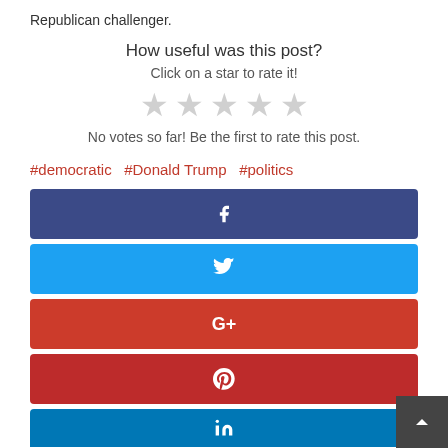Republican challenger.
How useful was this post?
Click on a star to rate it!
[Figure (other): Five empty/grey star rating icons]
No votes so far! Be the first to rate this post.
#democratic  #Donald Trump  #politics
[Figure (infographic): Social share buttons: Facebook, Twitter, Google+, Pinterest, LinkedIn]
[Figure (other): Back to top button (dark grey, chevron up icon)]